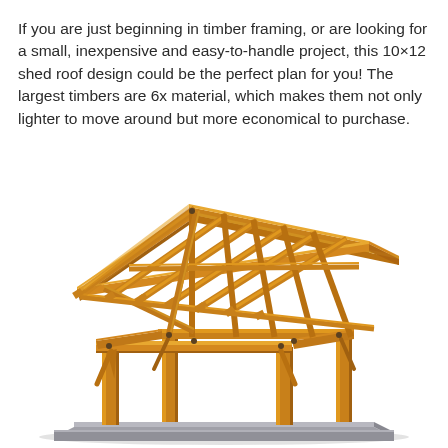If you are just beginning in timber framing, or are looking for a small, inexpensive and easy-to-handle project, this 10×12 shed roof design could be the perfect plan for you! The largest timbers are 6x material, which makes them not only lighter to move around but more economical to purchase.
[Figure (illustration): 3D rendering of a 10x12 timber frame shed roof structure. The structure shows wooden beams in a warm orange/amber wood tone, with a pitched gable roof, multiple rafters, cross beams, knee braces, and four vertical posts sitting on a gray concrete foundation slab. The view is from a front-right perspective showing the open framing without walls or roof sheathing.]